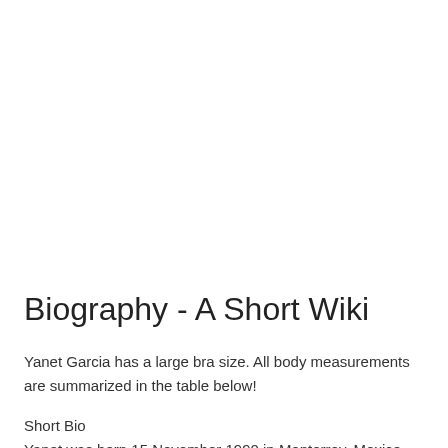Biography - A Short Wiki
Yanet Garcia has a large bra size. All body measurements are summarized in the table below!
Short Bio
Yanet was born 15 November 1990 in Monterrey, Mexico. She